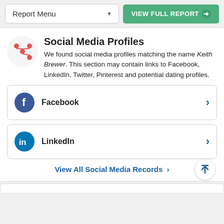Report Menu | VIEW FULL REPORT
Social Media Profiles
We found social media profiles matching the name Keith Brewer. This section may contain links to Facebook, LinkedIn, Twitter, Pinterest and potential dating profiles.
Facebook
LinkedIn
View All Social Media Records >